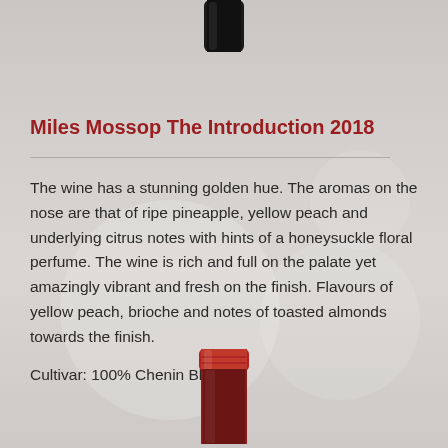[Figure (photo): Wine bottle dark cap/top portion visible at the top center of the page]
Miles Mossop The Introduction 2018
The wine has a stunning golden hue. The aromas on the nose are that of ripe pineapple, yellow peach and underlying citrus notes with hints of a honeysuckle floral perfume. The wine is rich and full on the palate yet amazingly vibrant and fresh on the finish. Flavours of yellow peach, brioche and notes of toasted almonds towards the finish.
Cultivar: 100% Chenin Blanc
[Figure (photo): Wine bottle red capsule/foil top portion visible at the bottom center of the page]